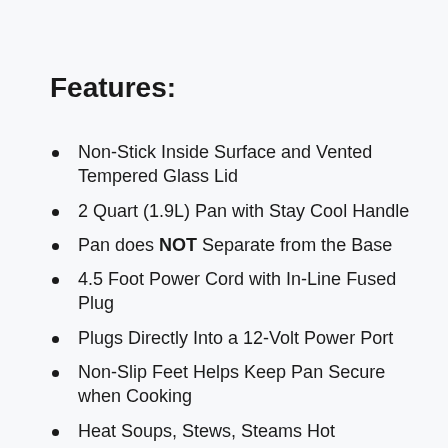Features:
Non-Stick Inside Surface and Vented Tempered Glass Lid
2 Quart (1.9L) Pan with Stay Cool Handle
Pan does NOT Separate from the Base
4.5 Foot Power Cord with In-Line Fused Plug
Plugs Directly Into a 12-Volt Power Port
Non-Slip Feet Helps Keep Pan Secure when Cooking
Heat Soups, Stews, Steams Hot